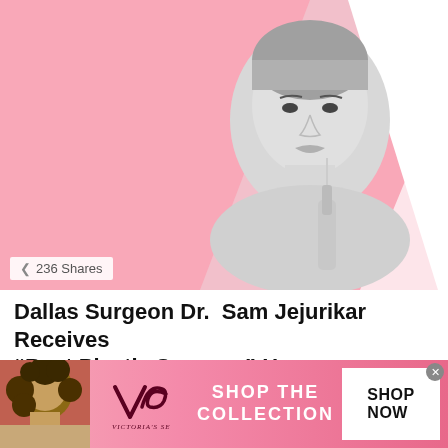[Figure (photo): Woman receiving cosmetic injection on a pink graphic background]
236 Shares
Dallas Surgeon Dr. Sam Jejurikar Receives “Best Plastic Surgeon” Honor
by Article Editor
about a month ago
[Figure (photo): Victoria's Secret advertisement banner with model, VS logo, SHOP THE COLLECTION text, and SHOP NOW button]